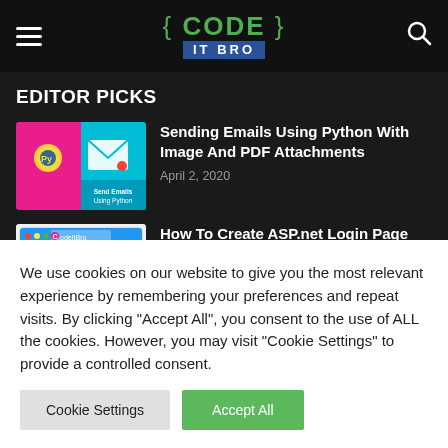{ CODE } IT BRO
EDITOR PICKS
[Figure (screenshot): Thumbnail for Python email article: pink and teal background with Python logo and email envelope icon, text 'Send Emails Using Python']
Sending Emails Using Python With Image And PDF Attachments
April 2, 2020
[Figure (screenshot): Thumbnail for ASP.net article: white background with CodeItBro logo and browser mockup]
How To Create ASP.net Login Page Using C#
We use cookies on our website to give you the most relevant experience by remembering your preferences and repeat visits. By clicking "Accept All", you consent to the use of ALL the cookies. However, you may visit "Cookie Settings" to provide a controlled consent.